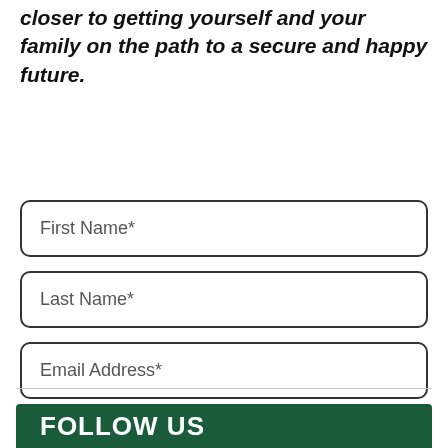closer to getting yourself and your family on the path to a secure and happy future.
First Name*
Last Name*
Email Address*
DOWNLOAD NOW
FOLLOW US